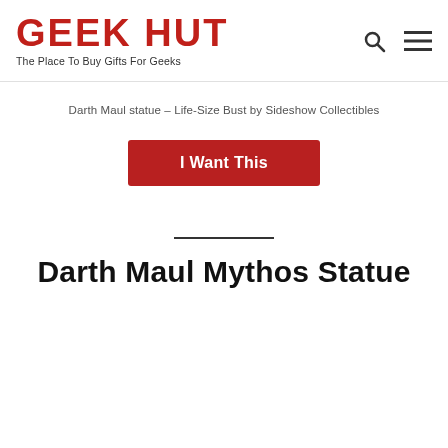GEEK HUT — The Place To Buy Gifts For Geeks
Darth Maul statue – Life-Size Bust by Sideshow Collectibles
I Want This
Darth Maul Mythos Statue